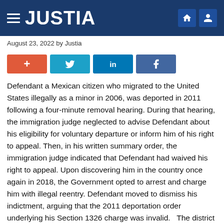JUSTIA
August 23, 2022 by Justia
[Figure (other): Social sharing buttons: +, Twitter, LinkedIn, Facebook]
Defendant a Mexican citizen who migrated to the United States illegally as a minor in 2006, was deported in 2011 following a four-minute removal hearing. During that hearing, the immigration judge neglected to advise Defendant about his eligibility for voluntary departure or inform him of his right to appeal. Then, in his written summary order, the immigration judge indicated that Defendant had waived his right to appeal. Upon discovering him in the country once again in 2018, the Government opted to arrest and charge him with illegal reentry. Defendant moved to dismiss his indictment, arguing that the 2011 deportation order underlying his Section 1326 charge was invalid.   The district court agreed, finding that the immigration judge's failure to